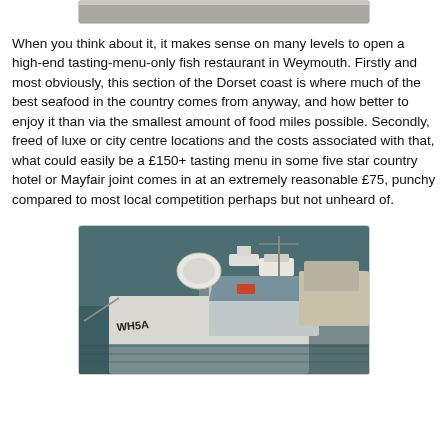[Figure (photo): Partial photo at top of page, cropped]
When you think about it, it makes sense on many levels to open a high-end tasting-menu-only fish restaurant in Weymouth. Firstly and most obviously, this section of the Dorset coast is where much of the best seafood in the country comes from anyway, and how better to enjoy it than via the smallest amount of food miles possible. Secondly, freed of luxe or city centre locations and the costs associated with that, what could easily be a £150+ tasting menu in some five star country hotel or Mayfair joint comes in at an extremely reasonable £75, punchy compared to most local competition perhaps but not unheard of.
[Figure (photo): Photo of boats moored at a harbour/marina, showing white boat with navigation equipment and registration markings]